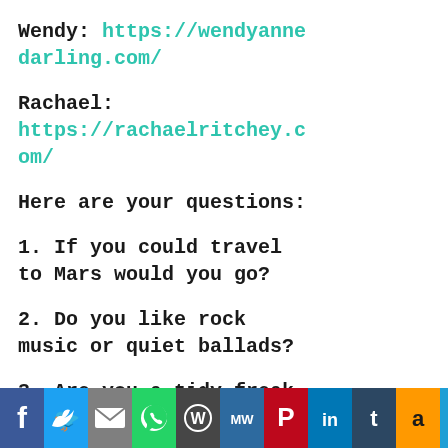Wendy: https://wendyannedarling.com/
Rachael: https://rachaelritchey.com/
Here are your questions:
1. If you could travel to Mars would you go?
2. Do you like rock music or quiet ballads?
3. Are you a tidy freak or a messy pup?
[Figure (infographic): Social media share buttons bar: Facebook, Twitter, Email, WhatsApp, WordPress, MeWe, Pinterest, LinkedIn, Tumblr, Amazon, Share]